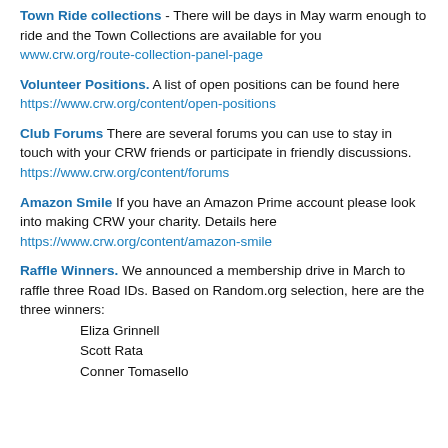Town Ride collections - There will be days in May warm enough to ride and the Town Collections are available for you www.crw.org/route-collection-panel-page
Volunteer Positions. A list of open positions can be found here https://www.crw.org/content/open-positions
Club Forums There are several forums you can use to stay in touch with your CRW friends or participate in friendly discussions. https://www.crw.org/content/forums
Amazon Smile If you have an Amazon Prime account please look into making CRW your charity. Details here https://www.crw.org/content/amazon-smile
Raffle Winners. We announced a membership drive in March to raffle three Road IDs. Based on Random.org selection, here are the three winners: Eliza Grinnell, Scott Rata, Conner Tomasello